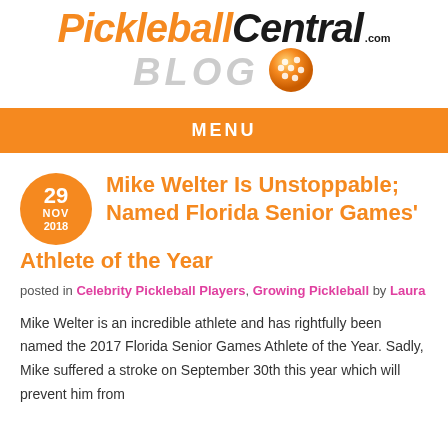PickleballCentral.com BLOG
MENU
Mike Welter Is Unstoppable; Named Florida Senior Games' Athlete of the Year
posted in Celebrity Pickleball Players, Growing Pickleball by Laura
Mike Welter is an incredible athlete and has rightfully been named the 2017 Florida Senior Games Athlete of the Year. Sadly, Mike suffered a stroke on September 30th this year which will prevent him from